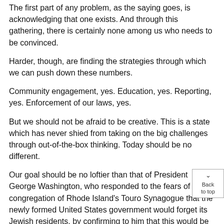The first part of any problem, as the saying goes, is acknowledging that one exists. And through this gathering, there is certainly none among us who needs to be convinced.
Harder, though, are finding the strategies through which we can push down these numbers.
Community engagement, yes. Education, yes. Reporting, yes. Enforcement of our laws, yes.
But we should not be afraid to be creative. This is a state which has never shied from taking on the big challenges through out-of-the-box thinking. Today should be no different.
Our goal should be no loftier than that of President George Washington, who responded to the fears of the congregation of Rhode Island's Touro Synagogue that the newly formed United States government would forget its Jewish residents, by confirming to him that this would be a nation that "gives to bigotry no sanction, to persecution no assistance."
Our history shows that we haven't always been perfect in this pursuit. But now is our time to make up for those past failures – including the failures within our state.
And, in doing so, we can live up to the remainder of President Washington's response to the Touro synagogue congregation –